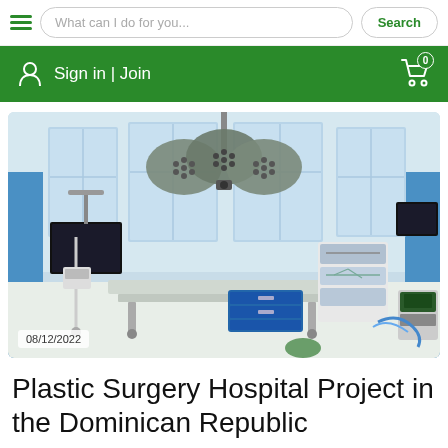What can I do for you... | Search
Sign in | Join | 0 (cart)
[Figure (photo): Operating room interior with surgical lights, medical equipment, tables, monitors, and medical devices. Blue walls, white floor. Date overlay: 08/12/2022]
Plastic Surgery Hospital Project in the Dominican Republic